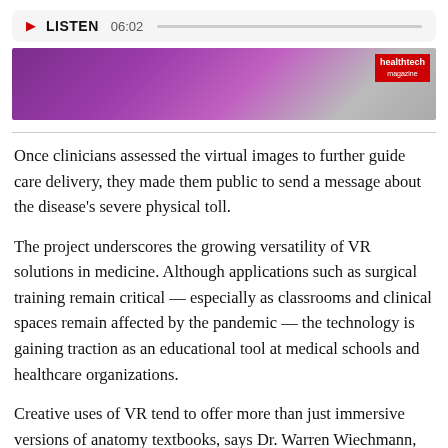[Figure (other): Audio player bar showing play button, LISTEN label, duration 06:02, and a progress bar on a light gray background]
[Figure (photo): Banner image with purple/magenta gradient background with a HealthTech logo badge in red in the upper right corner]
Once clinicians assessed the virtual images to further guide care delivery, they made them public to send a message about the disease's severe physical toll.
The project underscores the growing versatility of VR solutions in medicine. Although applications such as surgical training remain critical — especially as classrooms and clinical spaces remain affected by the pandemic — the technology is gaining traction as an educational tool at medical schools and healthcare organizations.
Creative uses of VR tend to offer more than just immersive versions of anatomy textbooks, says Dr. Warren Wiechmann, associate dean of clinical science education and